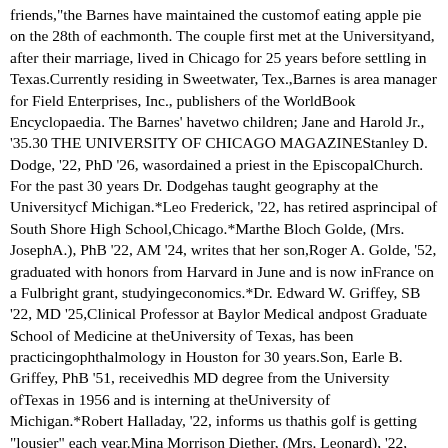friends,"the Barnes have maintained the customof eating apple pie on the 28th of eachmonth. The couple first met at the Universityand, after their marriage, lived in Chicago for 25 years before settling in Texas.Currently residing in Sweetwater, Tex.,Barnes is area manager for Field Enterprises, Inc., publishers of the WorldBook Encyclopaedia. The Barnes' havetwo children; Jane and Harold Jr., '35.30 THE UNIVERSITY OF CHICAGO MAGAZINEStanley D. Dodge, '22, PhD '26, wasordained a priest in the EpiscopalChurch. For the past 30 years Dr. Dodgehas taught geography at the Universitycf Michigan.*Leo Frederick, '22, has retired asprincipal of South Shore High School,Chicago.*Marthe Bloch Golde, (Mrs. JosephA.), PhB '22, AM '24, writes that her son,Roger A. Golde, '52, graduated with honors from Harvard in June and is now inFrance on a Fulbright grant, studyingeconomics.*Dr. Edward W. Griffey, SB '22, MD '25,Clinical Professor at Baylor Medical andpost Graduate School of Medicine at theUniversity of Texas, has been practicingophthalmology in Houston for 30 years.Son, Earle B. Griffey, PhB '51, receivedhis MD degree from the University ofTexas in 1956 and is interning at theUniversity of Michigan.*Robert Halladay, '22, informs us thathis golf is getting "lousier" each year.Mina Morrison Diether, (Mrs. Leonard), '22, plans to attend the AmericanBar Convention in London next summer.Mr. Diether is a trial lawyer in SanMarino, Calif.*Roscoe F. Pannett, '22, and his wife,the former Ruthmary Abbott, have